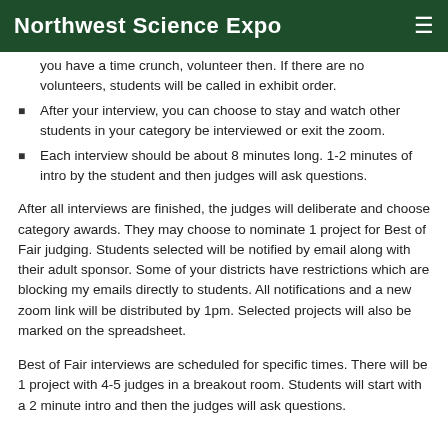Northwest Science Expo
you have a time crunch, volunteer then. If there are no volunteers, students will be called in exhibit order.
After your interview, you can choose to stay and watch other students in your category be interviewed or exit the zoom.
Each interview should be about 8 minutes long. 1-2 minutes of intro by the student and then judges will ask questions.
After all interviews are finished, the judges will deliberate and choose category awards. They may choose to nominate 1 project for Best of Fair judging. Students selected will be notified by email along with their adult sponsor. Some of your districts have restrictions which are blocking my emails directly to students. All notifications and a new zoom link will be distributed by 1pm. Selected projects will also be marked on the spreadsheet.
Best of Fair interviews are scheduled for specific times. There will be 1 project with 4-5 judges in a breakout room. Students will start with a 2 minute intro and then the judges will ask questions.